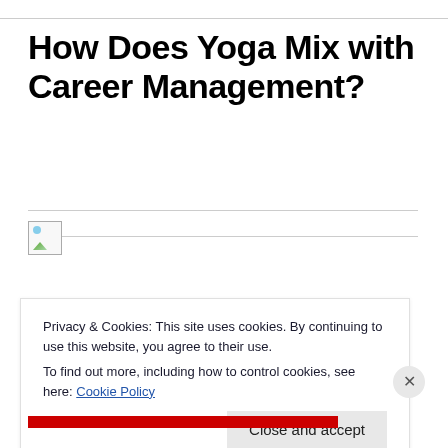How Does Yoga Mix with Career Management?
[Figure (illustration): Broken image placeholder icon with a horizontal line extending to the right]
Privacy & Cookies: This site uses cookies. By continuing to use this website, you agree to their use.
To find out more, including how to control cookies, see here: Cookie Policy
Close and accept